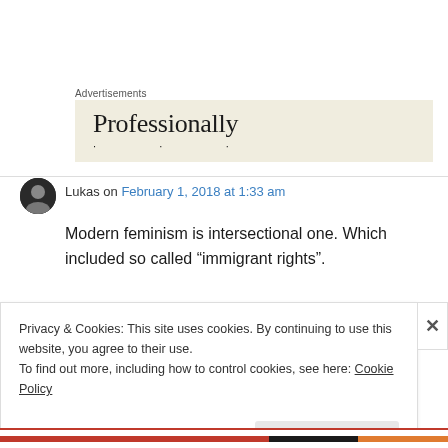Advertisements
[Figure (screenshot): Advertisement banner with cream/beige background showing the word 'Professionally' in large serif font with dots below]
Lukas on February 1, 2018 at 1:33 am
Modern feminism is intersectional one. Which included so called “immigrant rights”.
Privacy & Cookies: This site uses cookies. By continuing to use this website, you agree to their use.
To find out more, including how to control cookies, see here: Cookie Policy
Close and accept